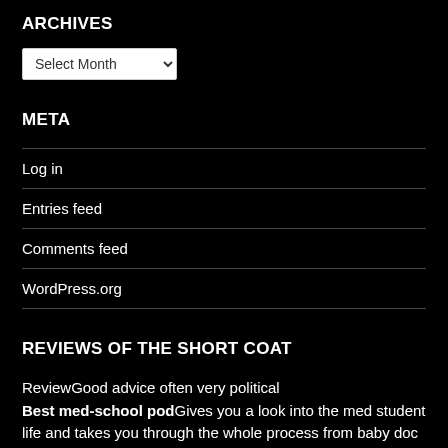ARCHIVES
[Figure (other): A dropdown select box labeled 'Select Month']
META
Log in
Entries feed
Comments feed
WordPress.org
REVIEWS OF THE SHORT COAT
ReviewGood advice often very political
Best med-school podGives you a look into the med student life and takes you through the whole process from baby doc 😊 to grandpa